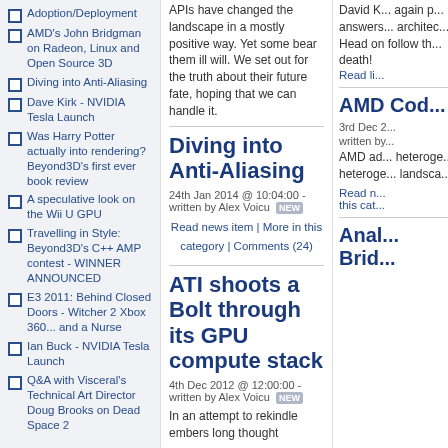Adoption/Deployment
AMD's John Bridgman on Radeon, Linux and Open Source 3D
Diving into Anti-Aliasing
Dave Kirk - NVIDIA Tesla Launch
Was Harry Potter actually into rendering? Beyond3D's first ever book review
A speculative look on the Wii U GPU
Travelling in Style: Beyond3D's C++ AMP contest - WINNER ANNOUNCED
E3 2011: Behind Closed Doors - Witcher 2 Xbox 360... and a Nurse
Ian Buck - NVIDIA Tesla Launch
Q&A with Visceral's Technical Art Director Doug Brooks on Dead Space 2
APIs have changed the landscape in a mostly positive way. Yet some bear them ill will. We set out for the truth about their future fate, hoping that we can handle it.
Diving into Anti-Aliasing
24th Jan 2014 @ 10:04:00 - written by Alex Voicu
Read news item | More in this category | Comments (24)
ATI shoots a Bolt through its GPU compute stack
4th Dec 2012 @ 12:00:00 - written by Alex Voicu
In an attempt to rekindle embers long thought
David K... again p... answers... architec... Head on follow th... death!
Read li...
AMD Cod...
3rd Dec 2...
written by...
AMD ad... heteroge... heteroge... landsca...
Read n... this cat...
Anal... Brid...